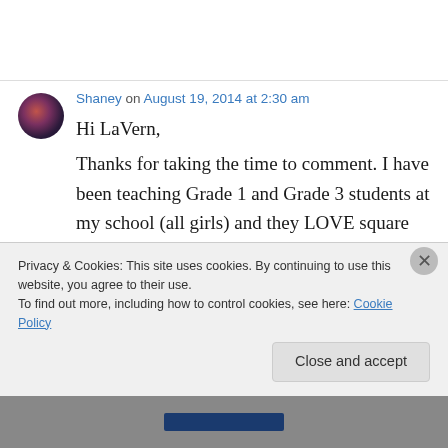Shaney on August 19, 2014 at 2:30 am
Hi LaVern,
Thanks for taking the time to comment. I have been teaching Grade 1 and Grade 3 students at my school (all girls) and they LOVE square dancing. I originally held an 8 week lesson and then when it finished, they begged me to do
Privacy & Cookies: This site uses cookies. By continuing to use this website, you agree to their use.
To find out more, including how to control cookies, see here: Cookie Policy
Close and accept